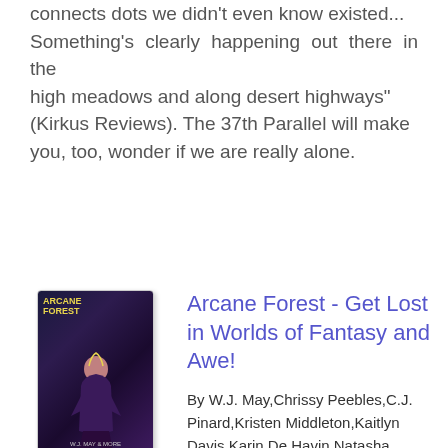connects dots we didn't even know existed... Something's clearly happening out there in the high meadows and along desert highways" (Kirkus Reviews). The 37th Parallel will make you, too, wonder if we are really alone.
Arcane Forest - Get Lost in Worlds of Fantasy and Awe!
By W.J. May,Chrissy Peebles,C.J. Pinard,Kristen Middleton,Kaitlyn Davis,Karin De Havin,Natasha Brown,Emma Shade,Kate Thomas
File : Pdf, ePub, Mobi, Kindle
Publisher : Dark Shadow Publishing